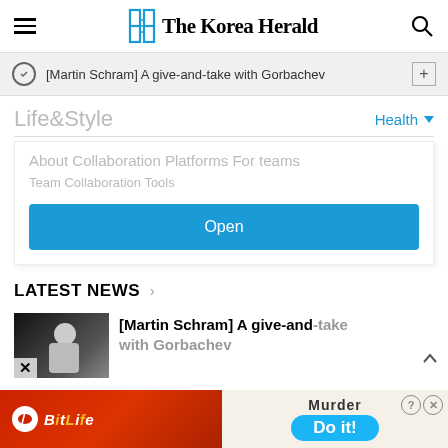The Korea Herald
[Martin Schram] A give-and-take with Gorbachev
Life&Style
Health
About Collaboration Platforms For teams
Team Collaboration Tools
Open
LATEST NEWS
[Martin Schram] A give-and-take with Gorbachev
[Figure (screenshot): Bottom banner advertisement for BitLife featuring Murder / Do it! with help and close buttons]